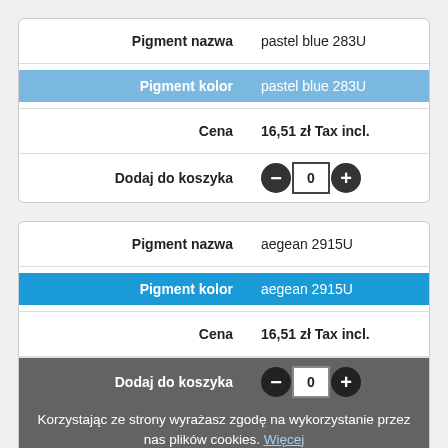|  |  |
| --- | --- |
| Pigment nazwa | pastel blue 283U |
| Pigment kolor | pastel blue 283U |
| Cena | 16,51 zł Tax incl. |
| Dodaj do koszyka | — 0 + |
|  |  |
| --- | --- |
| Pigment nazwa | aegean 2915U |
| Pigment kolor | aegean 2915U |
| Cena | 16,51 zł Tax incl. |
| Dodaj do koszyka | — 0 + |
Korzystając ze strony wyrażasz zgodę na wykorzystanie przez nas plików cookies. Więcej
✓ Rozumiem
|  |  |
| --- | --- |
| Pigment nazwa | light azure 2925U |